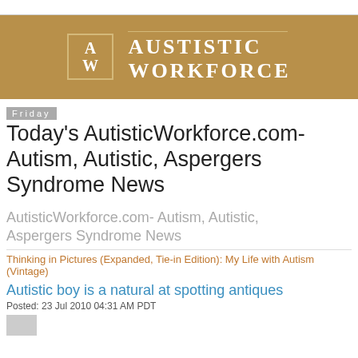[Figure (logo): Austistic Workforce logo banner: golden/tan background with AW monogram in a bordered box and 'AUSTISTIC WORKFORCE' text in serif white letters]
Friday
Today's AutisticWorkforce.com- Autism, Autistic, Aspergers Syndrome News
AutisticWorkforce.com- Autism, Autistic, Aspergers Syndrome News
Thinking in Pictures (Expanded, Tie-in Edition): My Life with Autism (Vintage)
Autistic boy is a natural at spotting antiques
Posted: 23 Jul 2010 04:31 AM PDT